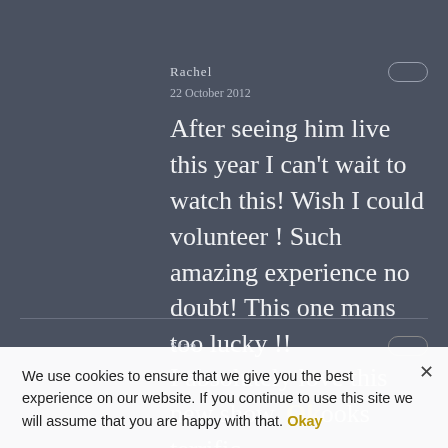Rachel
22 October 2012
After seeing him live this year I can't wait to watch this! Wish I could volunteer ! Such amazing experience no doubt! This one mans too lucky !!
Stan
I absolutely love this new show, looks terrific..... or is that terrorfic? Loads
We use cookies to ensure that we give you the best experience on our website. If you continue to use this site we will assume that you are happy with that.